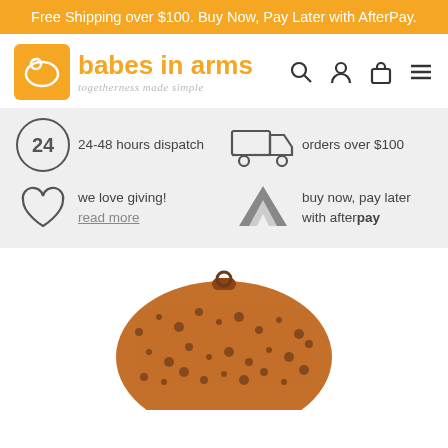Free Shipping over $100. Buy Now, Pay Later with AfterPay.
[Figure (logo): Babes in Arms logo with orange square icon and text 'babes in arms, togetherness made simple']
[Figure (infographic): Info bar with four sections: 24-48 hours dispatch, free shipping on orders over $100, we love giving (read more), buy now pay later with afterpay]
[Figure (photo): Bottom portion of a brown leopard-print baby product (appears to be a nursing pillow or similar)]